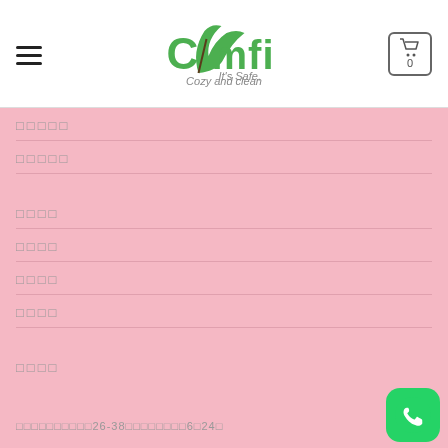[Figure (logo): COMFI logo with leaf icon and tagline 'It's Safe, Cozy and clean']
□□□□□
□□□□□
□□□□
□□□□
□□□□
□□□□
□□□□
□□□□□□□□□□26-38□□□□□□□□6□24□